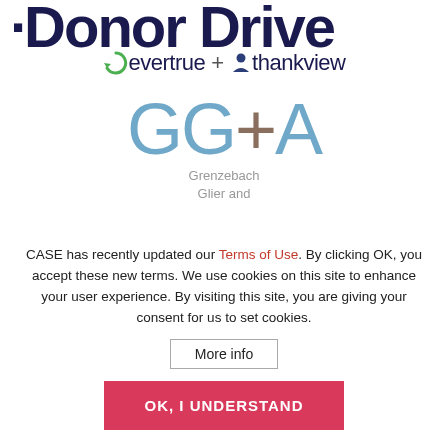[Figure (logo): DonorDrive logo text partially visible at top, large bold dark navy letters]
[Figure (logo): EverTrue + ThankView combined logo with icons]
[Figure (logo): GG+A Grenzebach Glier and Associates logo in light blue and brown]
CASE has recently updated our Terms of Use. By clicking OK, you accept these new terms. We use cookies on this site to enhance your user experience. By visiting this site, you are giving your consent for us to set cookies.
More info
OK, I UNDERSTAND